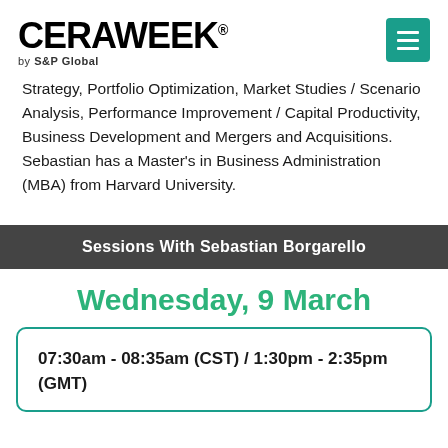CERAWeek by S&P Global
Strategy, Portfolio Optimization, Market Studies / Scenario Analysis, Performance Improvement / Capital Productivity, Business Development and Mergers and Acquisitions. Sebastian has a Master’s in Business Administration (MBA) from Harvard University.
Sessions With Sebastian Borgarello
Wednesday, 9 March
07:30am - 08:35am (CST) / 1:30pm - 2:35pm (GMT)